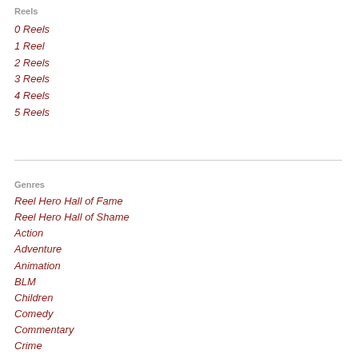Reels
0 Reels
1 Reel
2 Reels
3 Reels
4 Reels
5 Reels
Genres
Reel Hero Hall of Fame
Reel Hero Hall of Shame
Action
Adventure
Animation
BLM
Children
Comedy
Commentary
Crime